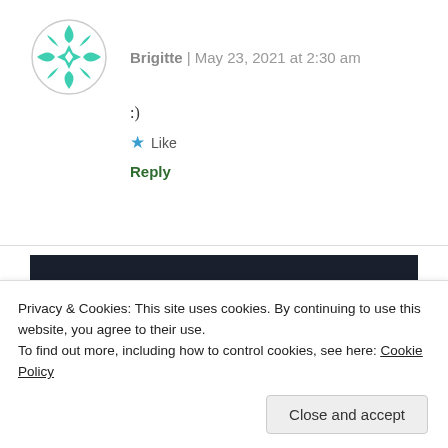Brigitte | May 23, 2021 at 2:30 am
:)
★ Like
Reply
[Figure (infographic): Dark navy background ad banner with teal text reading 'course with WordPress' and a teal rounded 'Learn More' button]
Privacy & Cookies: This site uses cookies. By continuing to use this website, you agree to their use.
To find out more, including how to control cookies, see here: Cookie Policy
Close and accept